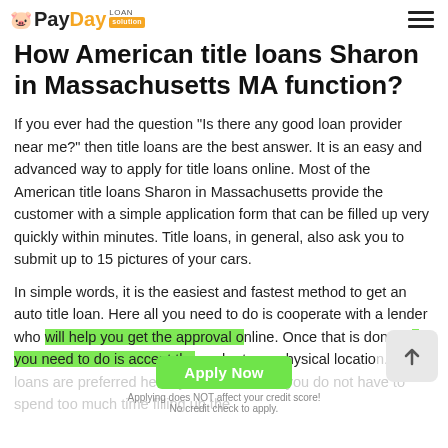PayDay Loan Solution
How American title loans Sharon in Massachusetts MA function?
If you ever had the question "Is there any good loan provider near me?" then title loans are the best answer. It is an easy and advanced way to apply for title loans online. Most of the American title loans Sharon in Massachusetts provide the customer with a simple application form that can be filled up very quickly within minutes. Title loans, in general, also ask you to submit up to 15 pictures of your cars.
In simple words, it is the easiest and fastest method to get an auto title loan. Here all you need to do is cooperate with a lender who will help you get the approval online. Once that is done, all you need to do is accept the cash at any physical location. Title loans are preferred heavily because here, you do not have to spend too much time filling up the